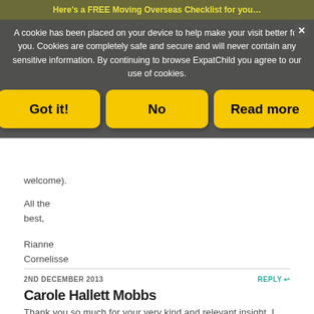[Figure (screenshot): Cookie consent overlay with dark semi-transparent background showing message 'A cookie has been placed on your device to help make your visit better for you. Cookies are completely safe and secure and will never contain any sensitive information. By continuing to browse ExpatChild you agree to our use of cookies.' with three yellow buttons: Got it!, No, Read more]
welcome).
All the best,
Rianne Cornelisse
2ND DECEMBER 2013
REPLY
Carole Hallett Mobbs
Thank you so much for your very kind and relevant insight. I